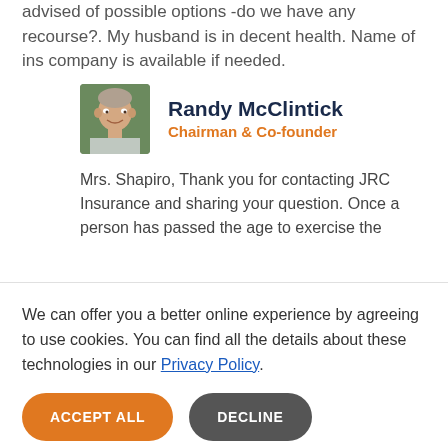advised of possible options -do we have any recourse?. My husband is in decent health. Name of ins company is available if needed.
[Figure (photo): Headshot photo of Randy McClintick, a middle-aged man smiling, outdoors with blurred background]
Randy McClintick
Chairman & Co-founder
Mrs. Shapiro, Thank you for contacting JRC Insurance and sharing your question. Once a person has passed the age to exercise the
We can offer you a better online experience by agreeing to use cookies. You can find all the details about these technologies in our Privacy Policy.
ACCEPT ALL   DECLINE
have a few articles about term life insurance